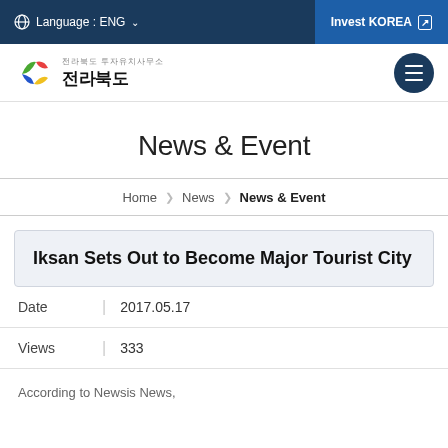Language : ENG  Invest KOREA
[Figure (logo): Jeollabuk-do provincial government logo with Korean text 전라북도 and colorful flag emblem]
News & Event
Home  News  News & Event
Iksan Sets Out to Become Major Tourist City
Date  2017.05.17
Views  333
According to Newsis News,